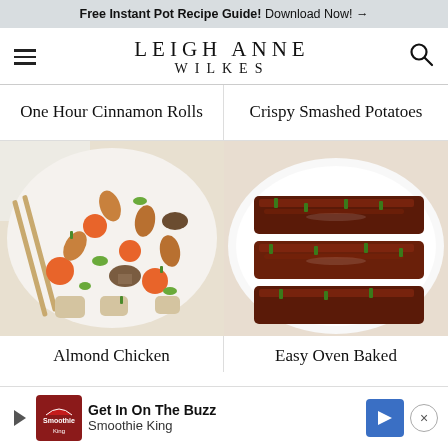Free Instant Pot Recipe Guide! Download Now! →
LEIGH ANNE WILKES
One Hour Cinnamon Rolls
Crispy Smashed Potatoes
[Figure (photo): Bowl of almond chicken stir fry with carrots, mushrooms, almonds, celery, and green onions, with chopsticks resting on the side]
[Figure (photo): Plate of easy oven baked ribs covered in dark BBQ sauce and garnished with chopped green onions]
Almond Chicken
Easy Oven Baked
Get In On The Buzz Smoothie King